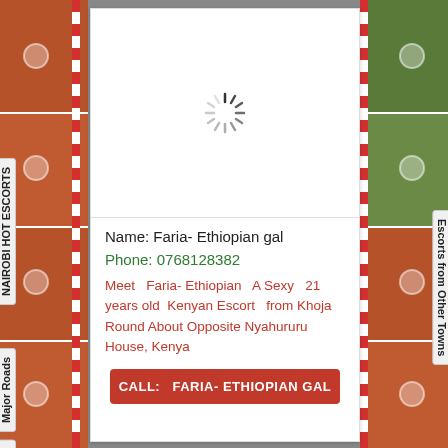[Figure (photo): Left decorative sidebar with brownish-red background and tiled photo elements]
[Figure (photo): Right decorative sidebar with green background and tiled photo elements]
[Figure (other): Loading spinner icon in image placeholder area of main card]
Name: Faria- Ethiopian gal
Phone: 0768128382
Meet  Faria- Ethiopian  A Sexy  21 years old  Kenyan Escort   from Khoja Round About Opposite Nyahururu House, Kenya
CALL:  FARIA- ETHIOPIAN GAL